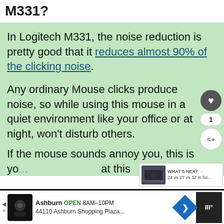M331?
In Logitech M331, the noise reduction is pretty good that it reduces almost 90% of the clicking noise.
Any ordinary Mouse clicks produce noise, so while using this mouse in a quiet environment like your office or at night, won't disturb others.
If the mouse sounds annoy you, this is yo... at this
[Figure (infographic): WHAT'S NEXT arrow card with image thumbnail, text '24 vs 27 vs 32 in for...']
[Figure (infographic): Advertisement bar: Ashburn OPEN 8AM-10PM, 44110 Ashburn Shopping Plaza...]